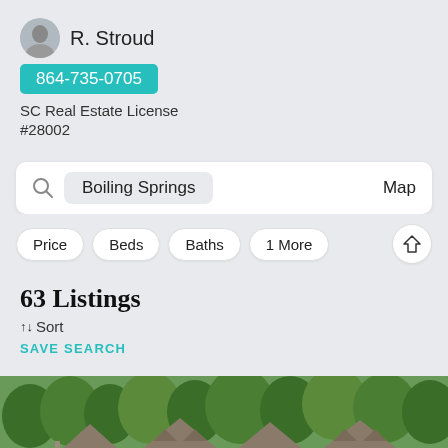R. Stroud
864-735-0705
SC Real Estate License
#28002
Boiling Springs
Map
Price
Beds
Baths
1 More
63 Listings
↑↓ Sort
SAVE SEARCH
[Figure (photo): House rooftops visible above tree line, exterior photo of residential homes]